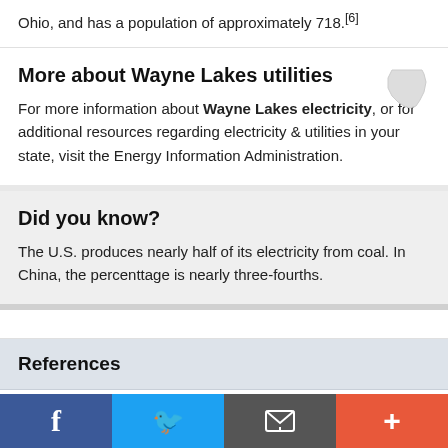Ohio, and has a population of approximately 718.[6]
More about Wayne Lakes utilities
For more information about Wayne Lakes electricity, or for additional resources regarding electricity & utilities in your state, visit the Energy Information Administration.
[Figure (illustration): Small outline map of the state of Ohio in light gray]
Did you know?
The U.S. produces nearly half of its electricity from coal. In China, the percenttage is nearly three-fourths.
References
1. ^ National Renewable Energy Laboratory